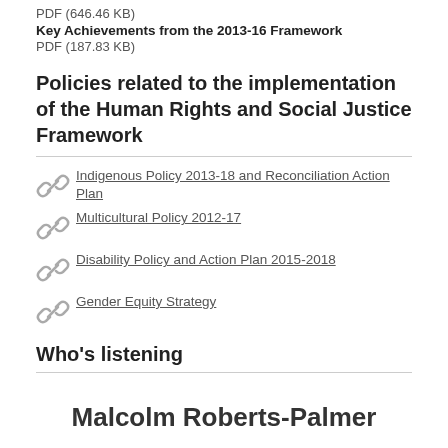PDF (646.46 KB)
Key Achievements from the 2013-16 Framework
PDF (187.83 KB)
Policies related to the implementation of the Human Rights and Social Justice Framework
Indigenous Policy 2013-18 and Reconciliation Action Plan
Multicultural Policy 2012-17
Disability Policy and Action Plan 2015-2018
Gender Equity Strategy
Who's listening
Malcolm Roberts-Palmer